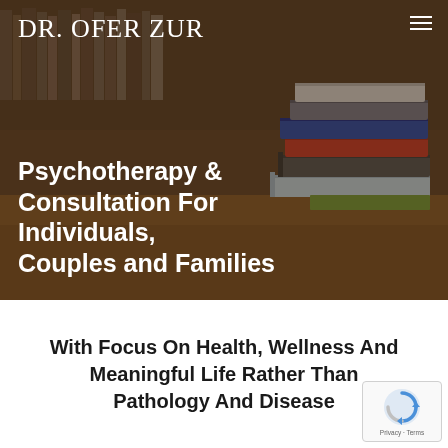Dr. Ofer Zur
[Figure (photo): Background photo of stacked books on a wooden surface with blurred bookshelves, overlaid with dark warm tint]
Psychotherapy & Consultation For Individuals, Couples and Families
With Focus On Health, Wellness And Meaningful Life Rather Than Pathology And Disease
[Figure (other): reCAPTCHA badge with spinning arrows logo and Privacy · Terms text]